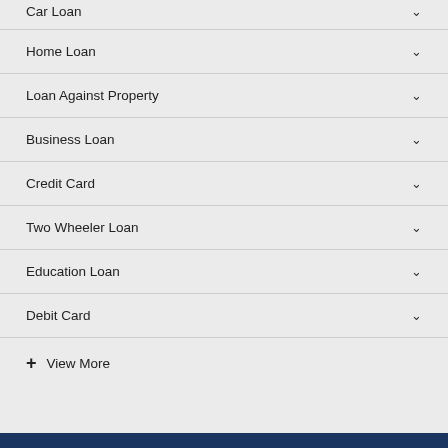Car Loan
Home Loan
Loan Against Property
Business Loan
Credit Card
Two Wheeler Loan
Education Loan
Debit Card
+ View More